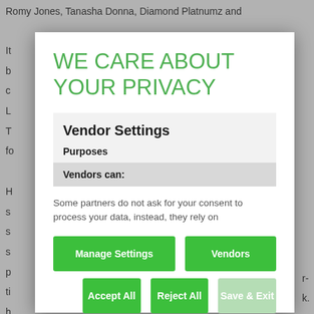Romy Jones, Tanasha Donna, Diamond Platnumz and
It b c L T fo H s s s p ti h v-
WE CARE ABOUT YOUR PRIVACY
Vendor Settings
Purposes
Vendors can:
Some partners do not ask for your consent to process your data, instead, they rely on
Manage Settings
Vendors
Accept All
Reject All
Save & Exit